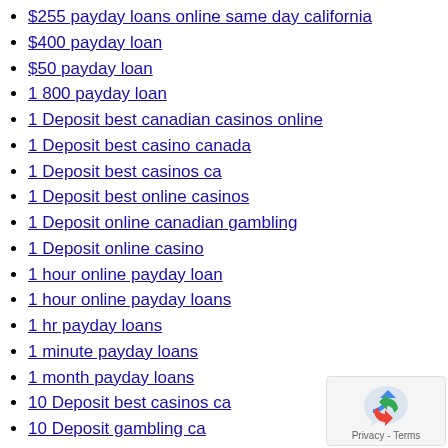$255 payday loans online same day california
$400 payday loan
$50 payday loan
1 800 payday loan
1 Deposit best canadian casinos online
1 Deposit best casino canada
1 Deposit best casinos ca
1 Deposit best online casinos
1 Deposit online canadian gambling
1 Deposit online casino
1 hour online payday loan
1 hour online payday loans
1 hr payday loans
1 minute payday loans
1 month payday loans
10 Deposit best casinos ca
10 Deposit gambling ca
100 approved payday loans
100 Best Dating Site
100 Best Dating Sites
100 Bonus best casino ca
100 Bonus gambling ca
100 Bonus online casino ca
100 Free Best Dating Site
100 online payday loan